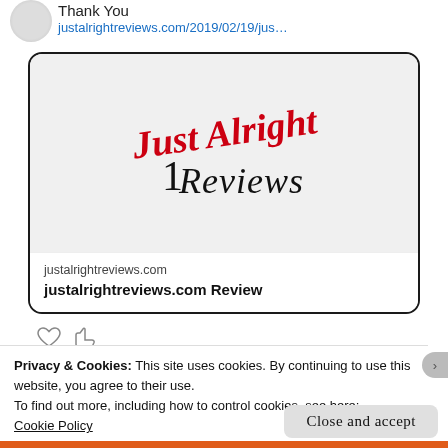Thank You
justalrightreviews.com/2019/02/19/jus…
[Figure (logo): Just Alright Reviews logo — handwritten red 'Just Alright' text above cursive black 'Reviews' on a light grey background, inside a dark-bordered rounded card. Below the image: 'justalrightreviews.com' and bold 'justalrightreviews.com Review']
Privacy & Cookies: This site uses cookies. By continuing to use this website, you agree to their use.
To find out more, including how to control cookies, see here:
Cookie Policy
Close and accept